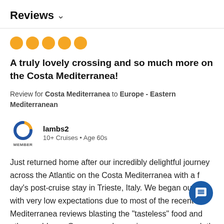Reviews ∨
[Figure (other): Five orange filled circles representing a 5-star rating]
A truly lovely crossing and so much more on the Costa Mediterranea!
Review for Costa Mediterranea to Europe - Eastern Mediterranean
[Figure (logo): Cruise Critic member logo - orange and blue C shape with MEMBER label below]
lambs2
10+ Cruises • Age 60s
Just returned home after our incredibly delightful journey across the Atlantic on the Costa Mediterranea with a f day's post-cruise stay in Trieste, Italy. We began our t with very low expectations due to most of the recent Mediterranea reviews blasting the "tasteless" food and other problems. Our personal experience was so much th